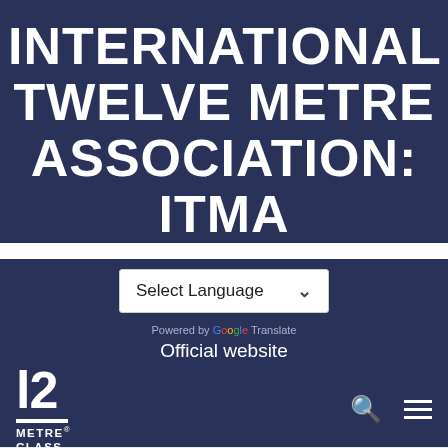INTERNATIONAL TWELVE METRE ASSOCIATION: ITMA
Select Language
Powered by Google Translate
Official website
[Figure (logo): 12 METRE CLASS logo with large numerals '12' and horizontal rule, with 'METRE CLASS' text below]
AMERICAN CHAMPIONSHIP: AN EXCITING EXPERIMENT